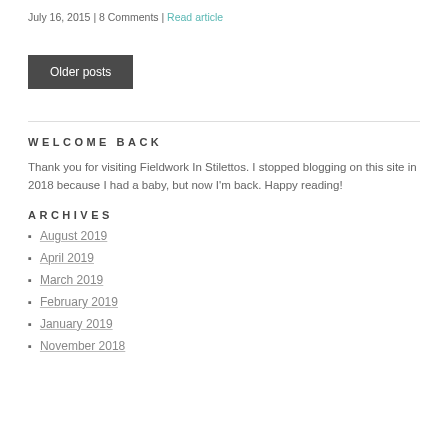July 16, 2015 | 8 Comments | Read article
Older posts
WELCOME BACK
Thank you for visiting Fieldwork In Stilettos. I stopped blogging on this site in 2018 because I had a baby, but now I'm back. Happy reading!
ARCHIVES
August 2019
April 2019
March 2019
February 2019
January 2019
November 2018